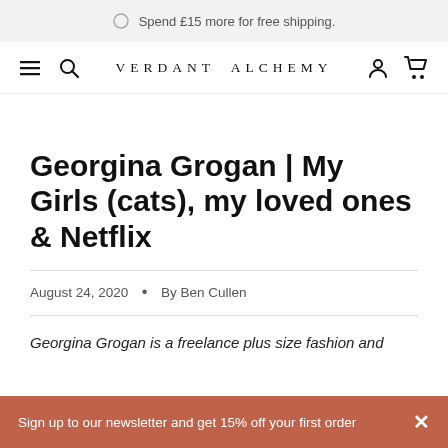Spend £15 more for free shipping.
VERDANT ALCHEMY
Georgina Grogan | My Girls (cats), my loved ones & Netflix
August 24, 2020 • By Ben Cullen
Georgina Grogan is a freelance plus size fashion and
Sign up to our newsletter and get 15% off your first order